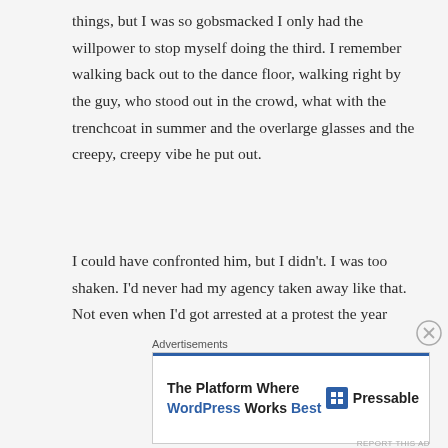things, but I was so gobsmacked I only had the willpower to stop myself doing the third. I remember walking back out to the dance floor, walking right by the guy, who stood out in the crowd, what with the trenchcoat in summer and the overlarge glasses and the creepy, creepy vibe he put out.
I could have confronted him, but I didn’t. I was too shaken. I’d never had my agency taken away like that. Not even when I’d got arrested at a protest the year before. To this fucking creepster, I wasn’t anything but what was between my legs. I didn’t know how to deal.
Advertisements
[Figure (other): Advertisement banner for Pressable: 'The Platform Where WordPress Works Best' with Pressable logo]